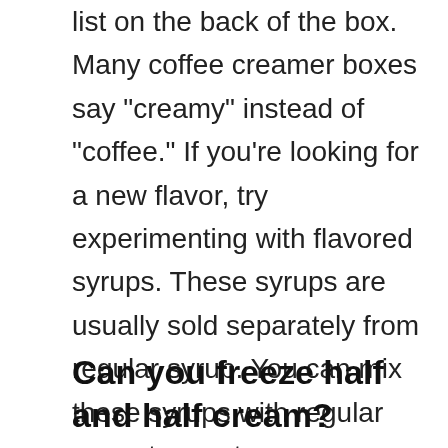list on the back of the box. Many coffee creamer boxes say "creamy" instead of "coffee." If you're looking for a new flavor, try experimenting with flavored syrups. These syrups are usually sold separately from regular syrup. You can mix these syrups with regular syrup to create your own unique flavors.
Can you freeze half and half cream?